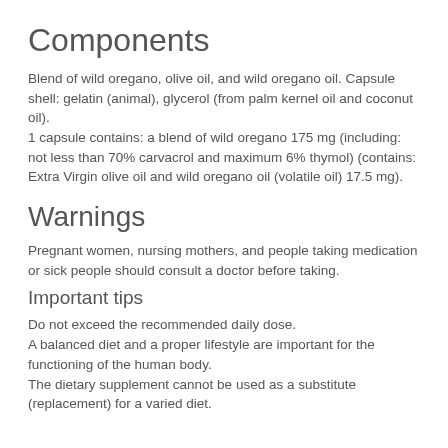Components
Blend of wild oregano, olive oil, and wild oregano oil. Capsule shell: gelatin (animal), glycerol (from palm kernel oil and coconut oil).
1 capsule contains: a blend of wild oregano 175 mg (including: not less than 70% carvacrol and maximum 6% thymol) (contains: Extra Virgin olive oil and wild oregano oil (volatile oil) 17.5 mg).
Warnings
Pregnant women, nursing mothers, and people taking medication or sick people should consult a doctor before taking.
Important tips
Do not exceed the recommended daily dose.
A balanced diet and a proper lifestyle are important for the functioning of the human body.
The dietary supplement cannot be used as a substitute (replacement) for a varied diet.